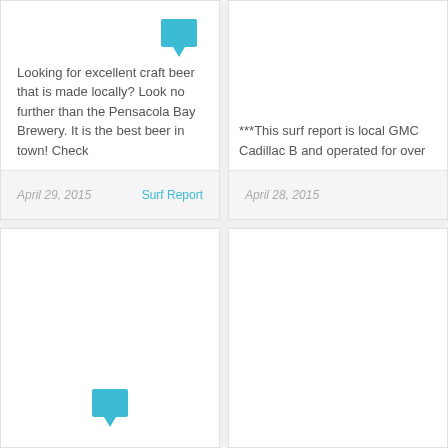Looking for excellent craft beer that is made locally?  Look no further than the Pensacola Bay Brewery. It is the best beer in town! Check
April 29, 2015
Surf Report
***This surf report is local GMC Cadillac B and operated for over
April 28, 2015
[Figure (illustration): Teal chat bubble icon top-right of card 1]
[Figure (illustration): Teal chat bubble icon bottom-center of card 3]